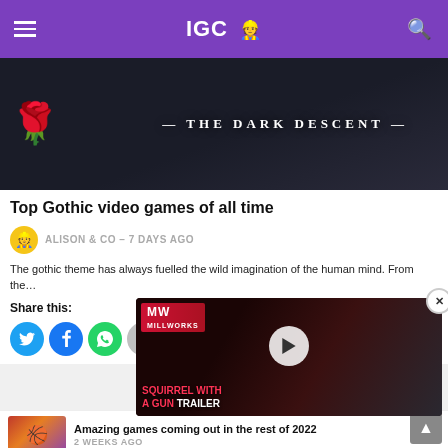IGC
[Figure (photo): Dark gothic game artwork showing 'THE DARK DESCENT' title with a rose and dark creature imagery]
Top Gothic video games of all time
ALISON & CO - 7 DAYS AGO
The gothic theme has always fuelled the wild imagination of the human mind. From the…
Share this:
[Figure (screenshot): Video player overlay showing 'SQUIRREL WITH A GUN TRAILER' with MW badge and play button]
Amazing games coming out in the rest of 2022
2 WEEKS AGO